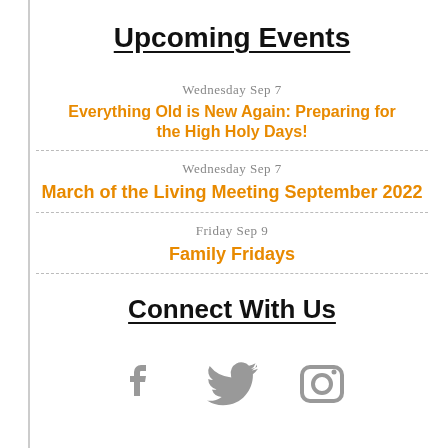Upcoming Events
Wednesday Sep 7 — Everything Old is New Again: Preparing for the High Holy Days!
Wednesday Sep 7 — March of the Living Meeting September 2022
Friday Sep 9 — Family Fridays
Connect With Us
[Figure (illustration): Three social media icons (Facebook, Twitter, and a third partially visible) in gray at the bottom of the page.]